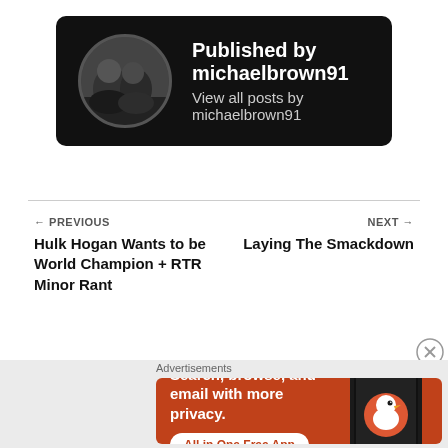[Figure (photo): Author card with dark/black background, circular avatar photo of two people, text 'Published by michaelbrown91' and 'View all posts by michaelbrown91']
← PREVIOUS
Hulk Hogan Wants to be World Champion + RTR Minor Rant
NEXT →
Laying The Smackdown
Advertisements
[Figure (screenshot): DuckDuckGo advertisement banner on orange background: 'Search, browse, and email with more privacy. All in One Free App' with phone showing DuckDuckGo logo]